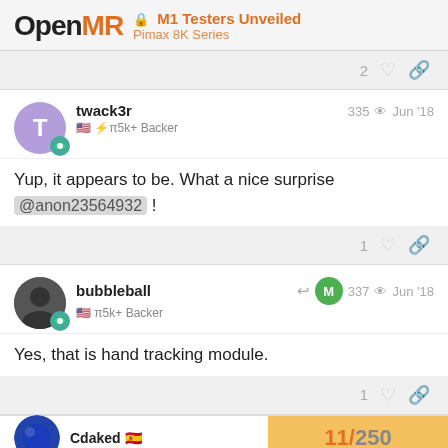OpenMR — M1 Testers Unveiled — Pimax 8K Series
2 [like] [link]
twack3r — 335 views — Jun '18
🇺🇸 ⚡π5k+ Backer
Yup, it appears to be. What a nice surprise @anon23564932 !
1 [like] [link]
bubbleball — 337 views — Jun '18
🇺🇸 π5k+ Backer
Yes, that is hand tracking module.
1 [like] [link]
Cdaked 🇪🇸
11 / 250